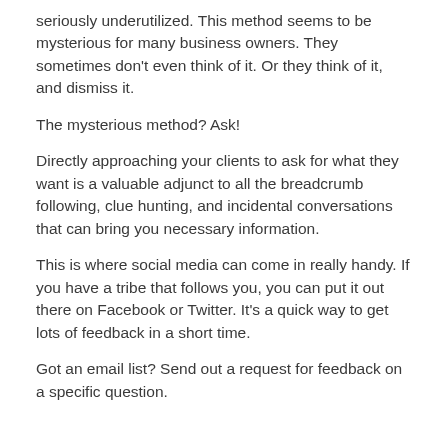seriously underutilized. This method seems to be mysterious for many business owners. They sometimes don't even think of it. Or they think of it, and dismiss it.
The mysterious method? Ask!
Directly approaching your clients to ask for what they want is a valuable adjunct to all the breadcrumb following, clue hunting, and incidental conversations that can bring you necessary information.
This is where social media can come in really handy. If you have a tribe that follows you, you can put it out there on Facebook or Twitter. It's a quick way to get lots of feedback in a short time.
Got an email list? Send out a request for feedback on a specific question.